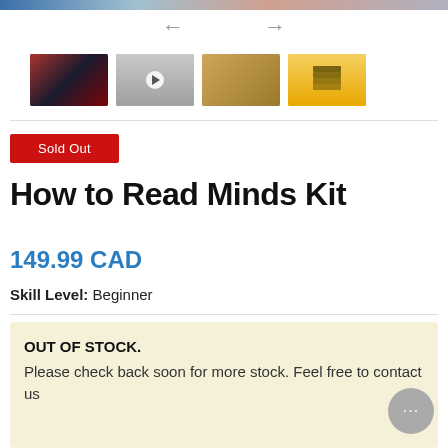[Figure (screenshot): Top image banner strip (cropped)]
[Figure (screenshot): Navigation arrows left and right for image carousel]
[Figure (screenshot): Four product thumbnail images in a row]
[Figure (other): Sold Out red button]
How to Read Minds Kit
149.99 CAD
Skill Level: Beginner
OUT OF STOCK. Please check back soon for more stock. Feel free to contact us